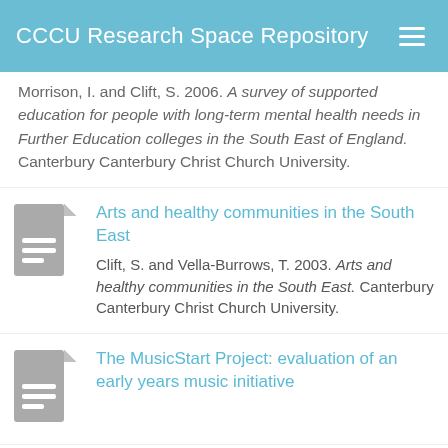CCCU Research Space Repository
Morrison, I. and Clift, S. 2006. A survey of supported education for people with long-term mental health needs in Further Education colleges in the South East of England. Canterbury Canterbury Christ Church University.
Arts and healthy communities in the South East
Clift, S. and Vella-Burrows, T. 2003. Arts and healthy communities in the South East. Canterbury Canterbury Christ Church University.
The MusicStart Project: evaluation of an early years music initiative